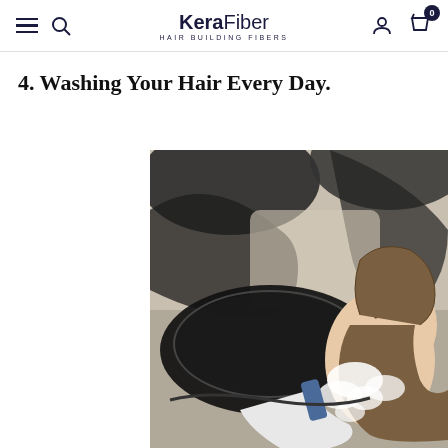KeraFiber HAIR BUILDING FIBERS
4. Washing Your Hair Every Day.
[Figure (photo): Woman having her hair washed at a salon sink, head tilted back, eyes closed, with shampoo lather visible; shot from above showing a dark salon wash basin]